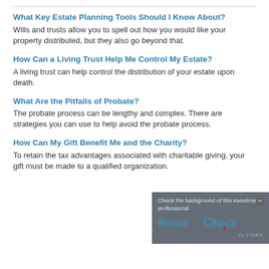What Key Estate Planning Tools Should I Know About?
Wills and trusts allow you to spell out how you would like your property distributed, but they also go beyond that.
How Can a Living Trust Help Me Control My Estate?
A living trust can help control the distribution of your estate upon death.
What Are the Pitfalls of Probate?
The probate process can be lengthy and complex. There are strategies you can use to help avoid the probate process.
How Can My Gift Benefit Me and the Charity?
To retain the tax advantages associated with charitable giving, your gift must be made to a qualified organization.
[Figure (other): BrokerCheck overlay widget showing 'Check the background of this investment professional' with BrokerCheck by FINRA logo]